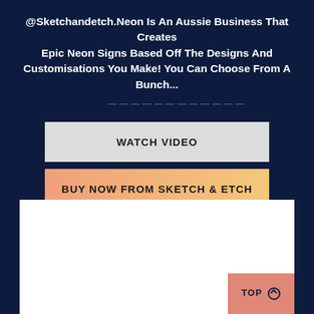@Sketchandetch.Neon Is An Aussie Business That Creates Epic Neon Signs Based Off The Designs And Customisations You Make! You Can Choose From A Bunch...
WATCH VIDEO
BUY NOW FROM SKETCH & ETCH
[Figure (other): White rectangular content area, partially visible, with a peach/salmon colored 'TOP' button with a circular arrow in the bottom right corner]